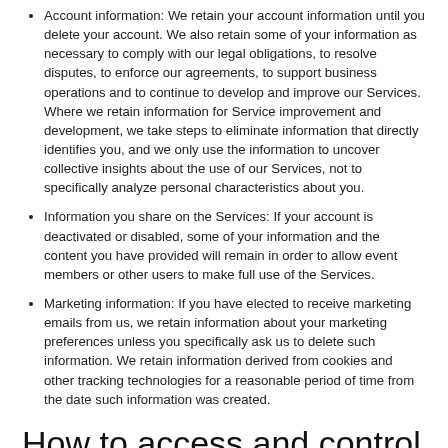Account information: We retain your account information until you delete your account. We also retain some of your information as necessary to comply with our legal obligations, to resolve disputes, to enforce our agreements, to support business operations and to continue to develop and improve our Services. Where we retain information for Service improvement and development, we take steps to eliminate information that directly identifies you, and we only use the information to uncover collective insights about the use of our Services, not to specifically analyze personal characteristics about you.
Information you share on the Services: If your account is deactivated or disabled, some of your information and the content you have provided will remain in order to allow event members or other users to make full use of the Services.
Marketing information: If you have elected to receive marketing emails from us, we retain information about your marketing preferences unless you specifically ask us to delete such information. We retain information derived from cookies and other tracking technologies for a reasonable period of time from the date such information was created.
How to access and control your information
You have certain choices available to you when it comes to your information. Below is a summary of those choices, how to exercise them and any